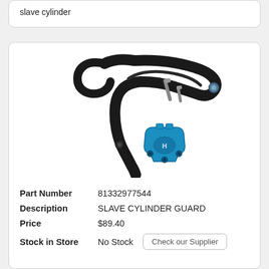slave cylinder
[Figure (photo): Product photo of a slave cylinder guard kit including a black plastic/metal lever arm guard and a blue anodized aluminum slave cylinder guard bracket with screws]
| Part Number | 81332977544 |
| Description | SLAVE CYLINDER GUARD |
| Price | $89.40 |
| Stock in Store | No Stock |